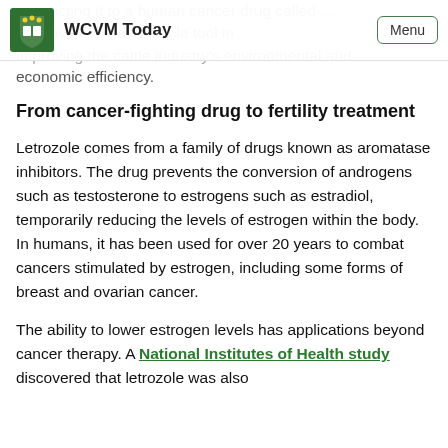WCVM Today | Menu
connecting it to a human cancer drug called … prove to be a valuable tool in improving the cattle industry's environmental and economic efficiency.
From cancer-fighting drug to fertility treatment
Letrozole comes from a family of drugs known as aromatase inhibitors. The drug prevents the conversion of androgens such as testosterone to estrogens such as estradiol, temporarily reducing the levels of estrogen within the body. In humans, it has been used for over 20 years to combat cancers stimulated by estrogen, including some forms of breast and ovarian cancer.
The ability to lower estrogen levels has applications beyond cancer therapy. A National Institutes of Health study discovered that letrozole was also